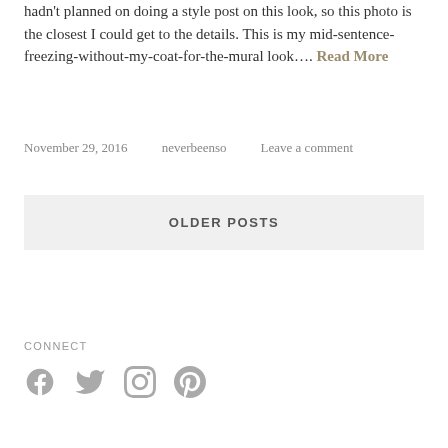hadn't planned on doing a style post on this look, so this photo is the closest I could get to the details. This is my mid-sentence-freezing-without-my-coat-for-the-mural look.... Read More
November 29, 2016   neverbeenso   Leave a comment
OLDER POSTS
CONNECT
[Figure (infographic): Social media icons: Facebook, Twitter, Instagram, Pinterest]